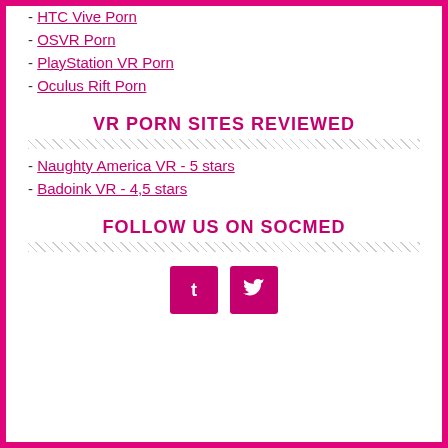- HTC Vive Porn
- OSVR Porn
- PlayStation VR Porn
- Oculus Rift Porn
VR PORN SITES REVIEWED
- Naughty America VR - 5 stars
- Badoink VR - 4,5 stars
FOLLOW US ON SOCMED
[Figure (other): Two social media icon buttons: Tumblr (t) and Twitter (bird icon), pink/magenta rounded squares]